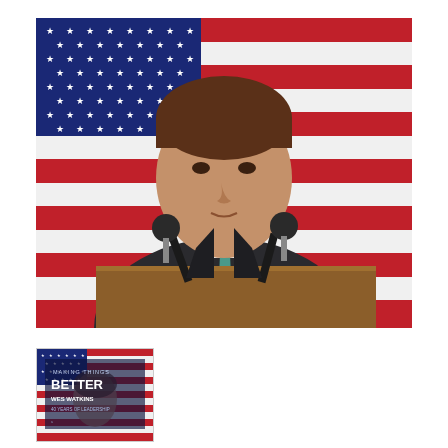[Figure (photo): A man in a dark suit and teal tie speaks at a wooden podium with two microphones, in front of a large American flag with red and white stripes and white stars on a blue field.]
[Figure (photo): Thumbnail of a book cover titled 'Making Things Better / BETTER / WES WATKINS / 40 YEARS OF LEADERSHIP' with an American flag background.]